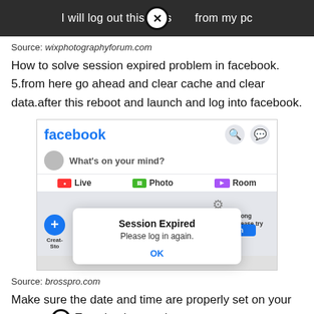[Figure (screenshot): Dark browser bar showing partial text 'I will log out this session from my pc' with a close/X button overlay]
Source: wixphotographyforum.com
How to solve session expired problem in facebook. 5.from here go ahead and clear cache and clear data.after this reboot and launch and log into facebook.
[Figure (screenshot): Facebook mobile app screenshot showing the main feed header with 'What's on your mind?', Live/Photo/Room buttons, a 'Something Went Wrong - Stories couldn't load. Please try again.' error, and a 'Session Expired - Please log in again. OK' dialog overlay.]
Source: brosspro.com
Make sure the date and time are properly set on your computer. Easy hacks to solve